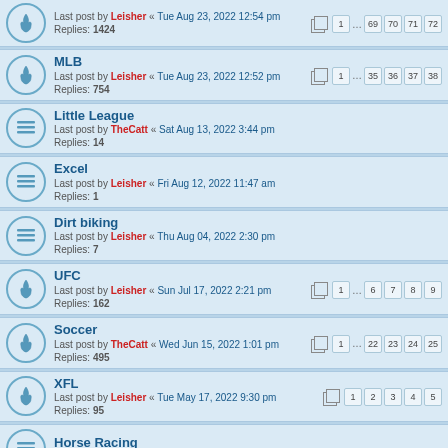Last post by Leisher « Tue Aug 23, 2022 12:54 pm | Replies: 1424 | Pages: 1 ... 69 70 71 72
MLB | Last post by Leisher « Tue Aug 23, 2022 12:52 pm | Replies: 754 | Pages: 1 ... 35 36 37 38
Little League | Last post by TheCatt « Sat Aug 13, 2022 3:44 pm | Replies: 14
Excel | Last post by Leisher « Fri Aug 12, 2022 11:47 am | Replies: 1
Dirt biking | Last post by Leisher « Thu Aug 04, 2022 2:30 pm | Replies: 7
UFC | Last post by Leisher « Sun Jul 17, 2022 2:21 pm | Replies: 162 | Pages: 1 ... 6 7 8 9
Soccer | Last post by TheCatt « Wed Jun 15, 2022 1:01 pm | Replies: 495 | Pages: 1 ... 22 23 24 25
XFL | Last post by Leisher « Tue May 17, 2022 9:30 pm | Replies: 95 | Pages: 1 2 3 4 5
Horse Racing | Last post by GORDON « Tue May 10, 2022 9:48 am